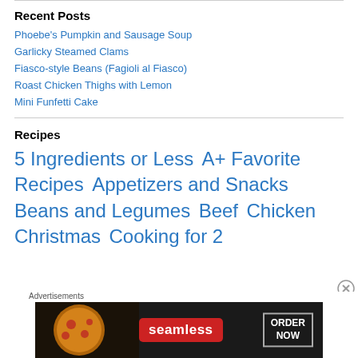Recent Posts
Phoebe's Pumpkin and Sausage Soup
Garlicky Steamed Clams
Fiasco-style Beans (Fagioli al Fiasco)
Roast Chicken Thighs with Lemon
Mini Funfetti Cake
Recipes
5 Ingredients or Less  A+ Favorite Recipes  Appetizers and Snacks  Beans and Legumes  Beef  Chicken  Christmas  Cooking for 2
[Figure (screenshot): Seamless advertisement banner with pizza image, Seamless logo pill in red, and ORDER NOW button in white bordered box on dark background]
Advertisements